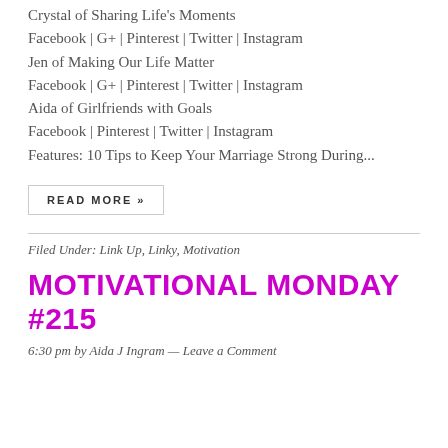Crystal of Sharing Life's Moments
Facebook | G+ | Pinterest | Twitter | Instagram
Jen of Making Our Life Matter
Facebook | G+ | Pinterest | Twitter | Instagram
Aida of Girlfriends with Goals
Facebook | Pinterest | Twitter | Instagram
Features: 10 Tips to Keep Your Marriage Strong During...
READ MORE »
Filed Under: Link Up, Linky, Motivation
MOTIVATIONAL MONDAY #215
6:30 pm by Aida J Ingram — Leave a Comment